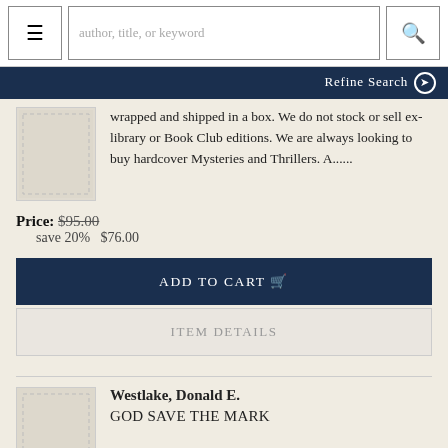author, title, or keyword | Refine Search
wrapped and shipped in a box. We do not stock or sell ex-library or Book Club editions. We are always looking to buy hardcover Mysteries and Thrillers. A......
Price: $95.00 save 20% $76.00
ADD TO CART
ITEM DETAILS
Westlake, Donald E. GOD SAVE THE MARK